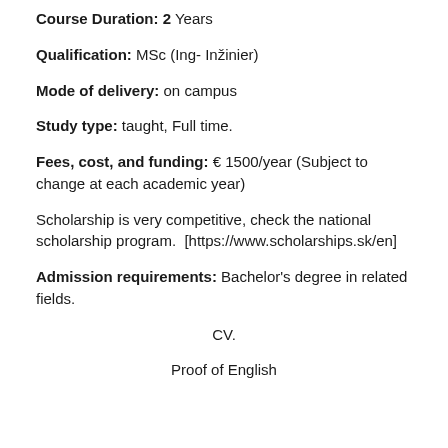Course Duration: 2 Years
Qualification: MSc (Ing- Inžinier)
Mode of delivery: on campus
Study type: taught, Full time.
Fees, cost, and funding: € 1500/year (Subject to change at each academic year)
Scholarship is very competitive, check the national scholarship program. [https://www.scholarships.sk/en]
Admission requirements: Bachelor's degree in related fields.
CV.
Proof of English